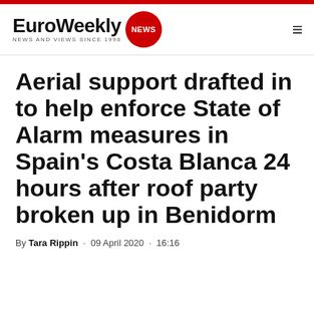EuroWeekly NEWS — NEWS AND VIEWS SINCE 1998
Aerial support drafted in to help enforce State of Alarm measures in Spain's Costa Blanca 24 hours after roof party broken up in Benidorm
By Tara Rippin · 09 April 2020 · 16:16